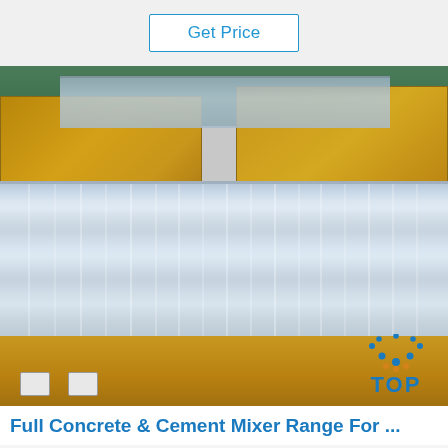Get Price
[Figure (photo): Photograph of stacked galvanized or aluminum metal sheets/panels stored in cardboard/gold packaging with plastic wrap, showing shiny reflective surface of the sheets. A 'TOP' brand logo is visible in the lower right corner of the image.]
Full Concrete & Cement Mixer Range For ...